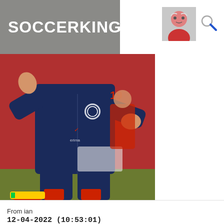SOCCERKING
[Figure (photo): Person wearing a navy blue Nike tracksuit gesturing with both hands on a football pitch sideline, red seats visible in background, player in red shirt numbered 19 in background, colorful football boots visible at bottom left]
From ian
12-04-2022 (10:53:01)
Erik ten Hag: What can Man Utd expect if they